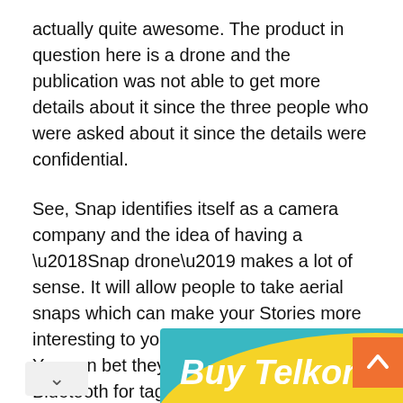actually quite awesome. The product in question here is a drone and the publication was not able to get more details about it since the three people who were asked about it since the details were confidential.
See, Snap identifies itself as a camera company and the idea of having a ‘Snap drone’ makes a lot of sense. It will allow people to take aerial snaps which can make your Stories more interesting to your friends and followers. You can bet they will add GPS, Wi-Fi and Bluetooth for tagging the location of the Snaps and transferring the content to your phone.
[Figure (illustration): Advertisement banner for 'Buy Telkom Airtime through' with teal background, yellow arc shape, white bold italic text, and a hand holding a phone visible at the bottom.]